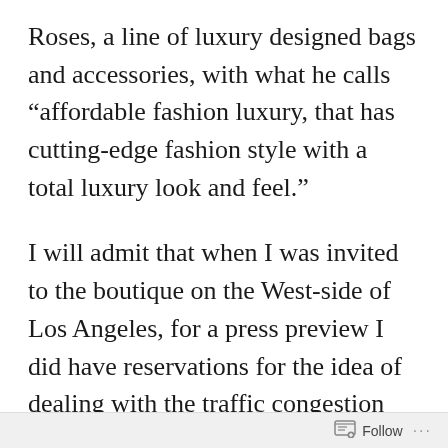Roses, a line of luxury designed bags and accessories, with what he calls “affordable fashion luxury, that has cutting-edge fashion style with a total luxury look and feel.”
I will admit that when I was invited to the boutique on the West-side of Los Angeles, for a press preview I did have reservations for the idea of dealing with the traffic congestion was more than I wanted to contend with. Thankfully traffic was light, and upon arrival I was greeted by a large glass storefront facade filled with the most colorful and beautifully designed bags I’d
Follow …